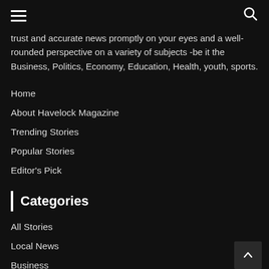[hamburger menu icon] [search icon]
trust and accurate news promptly on your eyes and a well-rounded perspective on a variety of subjects -be it the Business, Politics, Economy, Education, Health, youth, sports.
Home
About Havelock Magazine
Trending Stories
Popular Stories
Editor's Pick
Categories
All Stories
Local News
Business
Politics